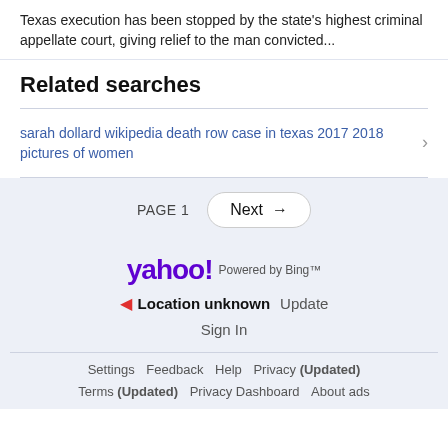Texas execution has been stopped by the state's highest criminal appellate court, giving relief to the man convicted...
Related searches
sarah dollard wikipedia death row case in texas 2017 2018 pictures of women
PAGE 1   Next →
[Figure (logo): Yahoo! logo with 'Powered by Bing™' text]
▸ Location unknown  Update
Sign In
Settings   Feedback   Help   Privacy (Updated)   Terms (Updated)   Privacy Dashboard   About ads